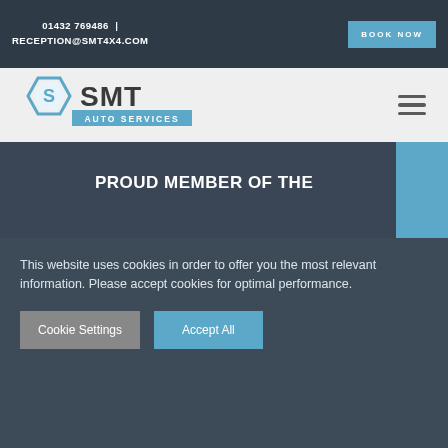01432 769486 | RECEPTION@SMT4X4.COM
[Figure (logo): SMT Auto Services logo with hexagon shield icon and blue banner]
PROUD MEMBER OF THE
[Figure (logo): Good Garage Scheme logo — green map-pin icon with checkmark, green text GOOD, dark text GARAGE SCHEME]
This website uses cookies in order to offer you the most relevant information. Please accept cookies for optimal performance.